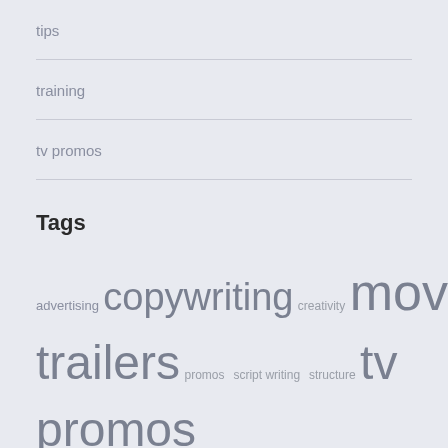tips
training
tv promos
Tags
advertising copywriting creativity movie trailers promos script writing structure tv promos video editing
Recent Comments